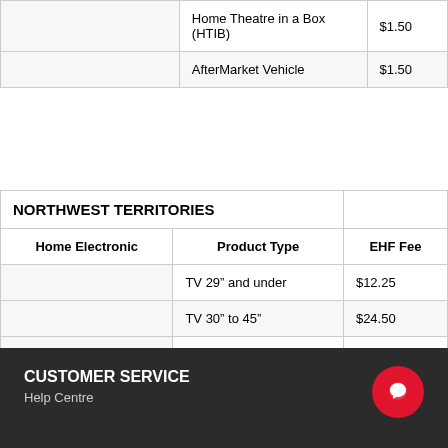|  | Product Type | EHF Fee |
| --- | --- | --- |
|  | Home Theatre in a Box (HTIB) | $1.50 |
|  | AfterMarket Vehicle | $1.50 |
| Home Electronic | Product Type | EHF Fee |
| --- | --- | --- |
|  | TV 29” and under | $12.25 |
|  | TV 30” to 45” | $24.50 |
|  | TV 45” and over | $40.00 |
CUSTOMER SERVICE
Help Centre